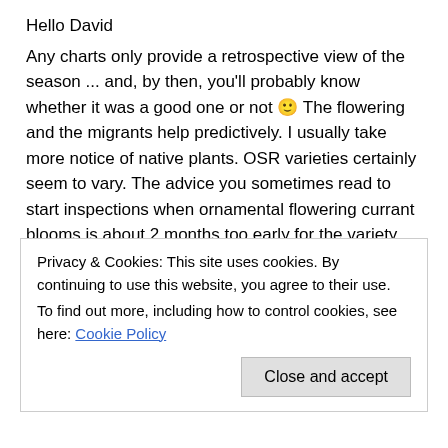Hello David
Any charts only provide a retrospective view of the season ... and, by then, you'll probably know whether it was a good one or not 🙂 The flowering and the migrants help predictively. I usually take more notice of native plants. OSR varieties certainly seem to vary. The advice you sometimes read to start inspections when ornamental flowering currant blooms is about 2 months too early for the variety planted by the local council in St Andrews – they regularly flower in late February.
It's always good to see the swallows and swifts return ... I expect the latter on the 7-10th of May.
Cheers
Privacy & Cookies: This site uses cookies. By continuing to use this website, you agree to their use.
To find out more, including how to control cookies, see here: Cookie Policy
Close and accept